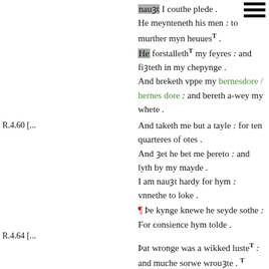nauȝt I couthe plede .
He meynteneth his men : to murther myn heuues T .
He forstalleth T my feyres : and fiȝteth in my chepynge .
And breketh vppe my bernesdore / bernes dore : and bereth a-wey my whete .
R.4.60 [...]
And taketh me but a tayle : for ten quarteres of otes .
And ȝet he bet me þereto : and lyth by my mayde .
I am nauȝt hardy for hym : vnnethe to loke .
¶ Þe kynge knewe he seyde sothe : For consience hym tolde .
R.4.64 [...]
Þat wronge was a wikked luste T : and muche sorwe wrouȝte . T